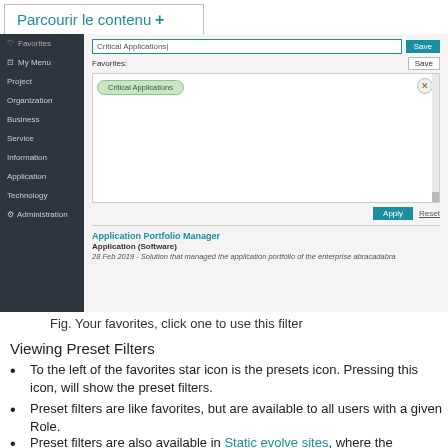Parcourir le contenu +
[Figure (screenshot): Screenshot of an application interface showing a sidebar with navigation items (Favorites, My Menu, Project, Organization, Business, Service, Information, Application, Technology, Administration) and a main panel with a filter/favorites UI including an input field with 'Critical Applications', a Save button, a Favorites section with a teal tag 'Critical Applications' and an x button, an Apply and Reset button, a divider, and a search result showing 'Application Portfolio Manager', 'Application (Software)', '28 Feb 2019 - Solution that managed the application portfolio of the enterprise abracadabra']
Fig. Your favorites, click one to use this filter
Viewing Preset Filters
To the left of the favorites star icon is the presets icon. Pressing this icon, will show the preset filters.
Preset filters are like favorites, but are available to all users with a given Role.
Preset filters are also available in Static evolve sites, where the